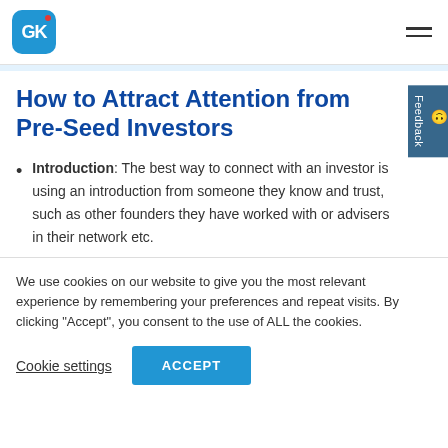[Figure (logo): GK logo in blue rounded square with red dot, plus hamburger menu icon on right]
How to Attract Attention from Pre-Seed Investors
Introduction: The best way to connect with an investor is using an introduction from someone they know and trust, such as other founders they have worked with or advisers in their network etc.
We use cookies on our website to give you the most relevant experience by remembering your preferences and repeat visits. By clicking “Accept”, you consent to the use of ALL the cookies.
Cookie settings | ACCEPT